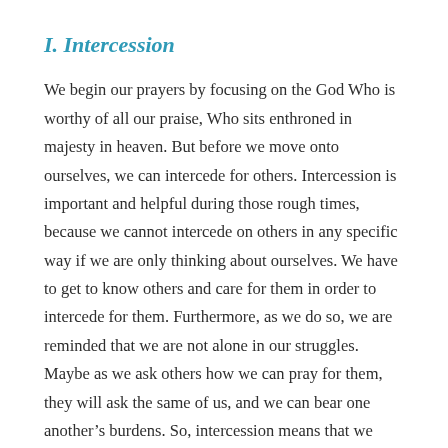I. Intercession
We begin our prayers by focusing on the God Who is worthy of all our praise, Who sits enthroned in majesty in heaven. But before we move onto ourselves, we can intercede for others. Intercession is important and helpful during those rough times, because we cannot intercede on others in any specific way if we are only thinking about ourselves. We have to get to know others and care for them in order to intercede for them. Furthermore, as we do so, we are reminded that we are not alone in our struggles. Maybe as we ask others how we can pray for them, they will ask the same of us, and we can bear one another’s burdens. So, intercession means that we pray for others, and partly how we do so